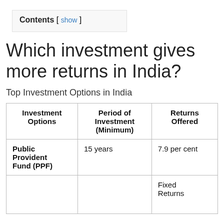Contents [ show ]
Which investment gives more returns in India?
Top Investment Options in India
| Investment Options | Period of Investment (Minimum) | Returns Offered |
| --- | --- | --- |
| Public Provident Fund (PPF) | 15 years | 7.9 per cent |
|  |  | Fixed Returns |